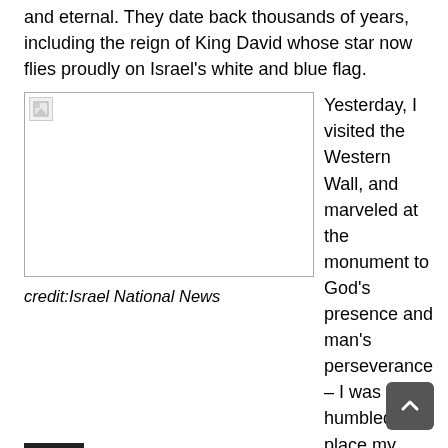The ties of the Jewish people to the Holy Land are ancient and eternal. They date back thousands of years, including the reign of King David whose star now flies proudly on Israel's white and blue flag.
[Figure (photo): Broken/missing image placeholder with small icon in top-left corner]
credit:Israel National News
Yesterday, I visited the Western Wall, and marveled at the monument to God's presence and man's perseverance – I was humbled to place my hand upon the wall and to pray in that holy space for wisdom from God.
I also visited and prayed at the Church of the Holy Sepulchre, a site revered by Christians throughout the world. I laid a wreath at Yad Vashem, honoring, remembering, and